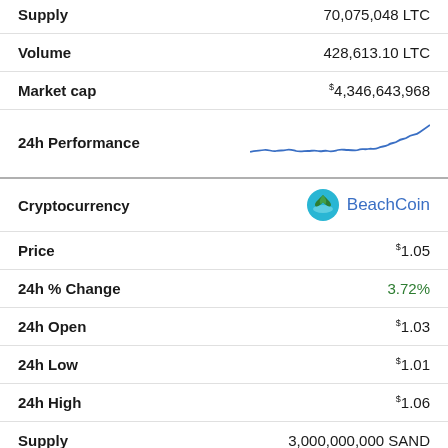| Field | Value |
| --- | --- |
| Supply | 70,075,048 LTC |
| Volume | 428,613.10 LTC |
| Market cap | $4,346,643,968 |
| 24h Performance | [line chart] |
| Cryptocurrency | BeachCoin |
| Price | $1.05 |
| 24h % Change | 3.72% |
| 24h Open | $1.03 |
| 24h Low | $1.01 |
| 24h High | $1.06 |
| Supply | 3,000,000,000 SAND |